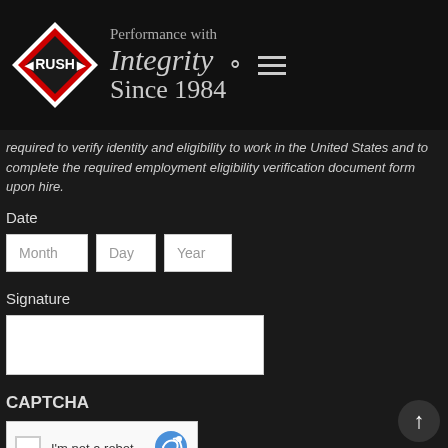[Figure (logo): RUSH logo with red and white diamond shape and text 'Performance with Integrity Since 1984']
required to verify identity and eligibility to work in the United States and to complete the required employment eligibility verification document form upon hire.
Date
Month  Day  Year
Signature
CAPTCHA
[Figure (screenshot): reCAPTCHA widget with checkbox and 'I'm not a robot' text]